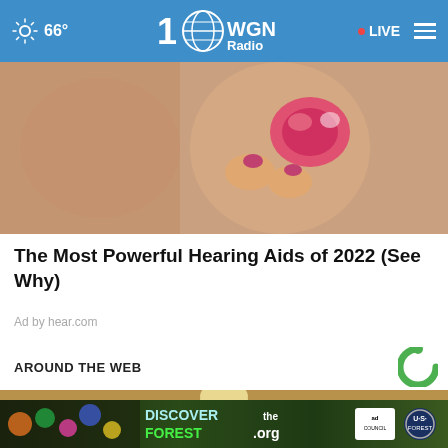66° WGN Radio 100 · LIVE
[Figure (photo): Close-up photo of a person inserting a small hearing aid into an ear, with painted fingernails visible.]
The Most Powerful Hearing Aids of 2022 (See Why)
Ad by hear.com
AROUND THE WEB
[Figure (photo): Photo of a woman with blonde hair looking downward, appearing stressed or focused, in front of a wood-paneled background.]
[Figure (photo): DISCOVERtheFOREST.org advertisement banner with forest imagery, Ad Council logo, and US Forest Service badge.]